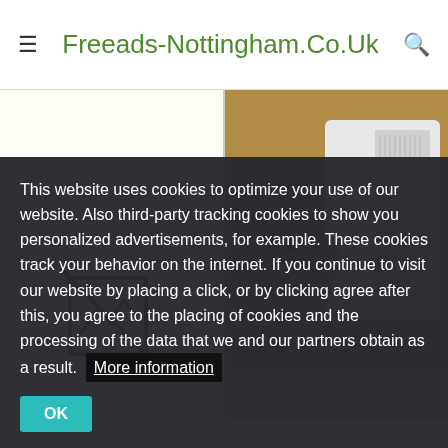≡  Freeads-Nottingham.Co.Uk  🔍
[Figure (photo): Broken image placeholder icon (crossed-out image symbol) on cream background]
[Figure (photo): Xbox One S console and controller on a wooden floor surface]
This website uses cookies to optimize your use of our website. Also third-party tracking cookies to show you personalized advertisements, for example. These cookies track your behavior on the internet. If you continue to visit our website by placing a click, or by clicking agree after this, you agree to the placing of cookies and the processing of the data that we and our partners obtain as a result.  More information
OK